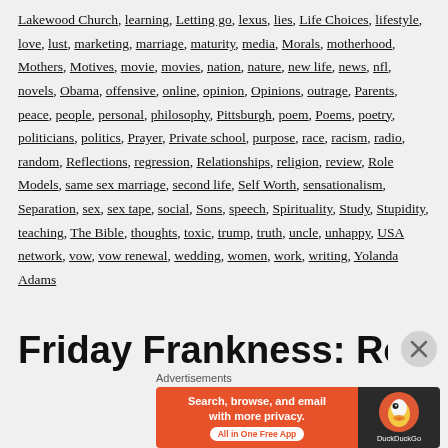Lakewood Church, learning, Letting go, lexus, lies, Life Choices, lifestyle, love, lust, marketing, marriage, maturity, media, Morals, motherhood, Mothers, Motives, movie, movies, nation, nature, new life, news, nfl, novels, Obama, offensive, online, opinion, Opinions, outrage, Parents, peace, people, personal, philosophy, Pittsburgh, poem, Poems, poetry, politicians, politics, Prayer, Private school, purpose, race, racism, radio, random, Reflections, regression, Relationships, religion, review, Role Models, same sex marriage, second life, Self Worth, sensationalism, Separation, sex, sex tape, social, Sons, speech, Spirituality, Study, Stupidity, teaching, The Bible, thoughts, toxic, trump, truth, uncle, unhappy, USA network, vow, vow renewal, wedding, women, work, writing, Yolanda Adams
Friday Frankness: Role Playing
[Figure (screenshot): DuckDuckGo advertisement banner with orange left panel saying 'Search, browse, and email with more privacy. All in One Free App' and dark right panel with DuckDuckGo duck logo]